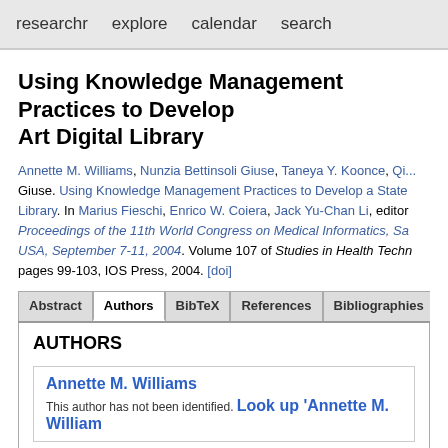researchr   explore   calendar   search
Using Knowledge Management Practices to Develop a State-of-the-Art Digital Library
Annette M. Williams, Nunzia Bettinsoli Giuse, Taneya Y. Koonce, Qi.... Giuse. Using Knowledge Management Practices to Develop a State-of-the-Art Digital Library. In Marius Fieschi, Enrico W. Coiera, Jack Yu-Chan Li, editors, Proceedings of the 11th World Congress on Medical Informatics, San Francisco, CA, USA, September 7-11, 2004. Volume 107 of Studies in Health Technology and Informatics, pages 99-103, IOS Press, 2004. [doi]
AUTHORS
Annette M. Williams
This author has not been identified. Look up 'Annette M. Williams'